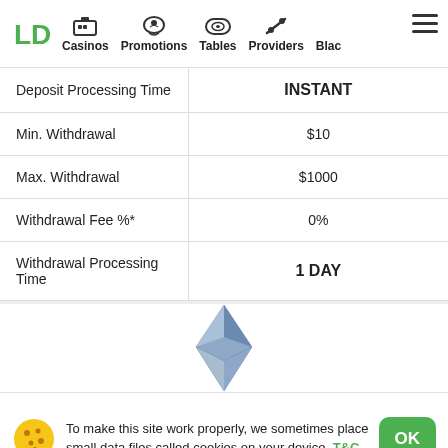Casinos | Promotions | Tables | Providers | Blac
|  |  |
| --- | --- |
| Deposit Processing Time | INSTANT |
| Min. Withdrawal | $10 |
| Max. Withdrawal | $1000 |
| Withdrawal Fee %* | 0% |
| Withdrawal Processing Time | 1 DAY |
[Figure (illustration): Ethereum cryptocurrency logo - blue/grey diamond shape]
To make this site work properly, we sometimes place small data files called cookies on your device. T&C